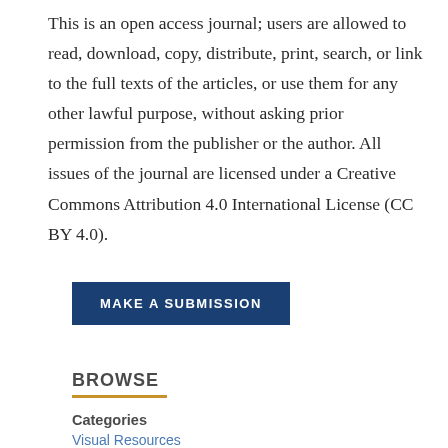This is an open access journal; users are allowed to read, download, copy, distribute, print, search, or link to the full texts of the articles, or use them for any other lawful purpose, without asking prior permission from the publisher or the author. All issues of the journal are licensed under a Creative Commons Attribution 4.0 International License (CC BY 4.0).
MAKE A SUBMISSION
BROWSE
Categories
Visual Resources
35mm Slides